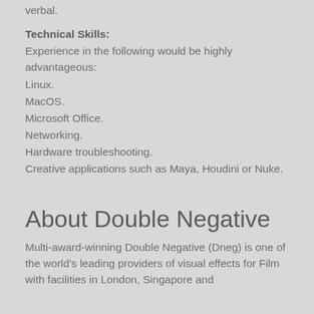Excellent communication skills – both written and verbal.
Technical Skills:
Experience in the following would be highly advantageous:
Linux.
MacOS.
Microsoft Office.
Networking.
Hardware troubleshooting.
Creative applications such as Maya, Houdini or Nuke.
About Double Negative
Multi-award-winning Double Negative (Dneg) is one of the world's leading providers of visual effects for Film with facilities in London, Singapore and